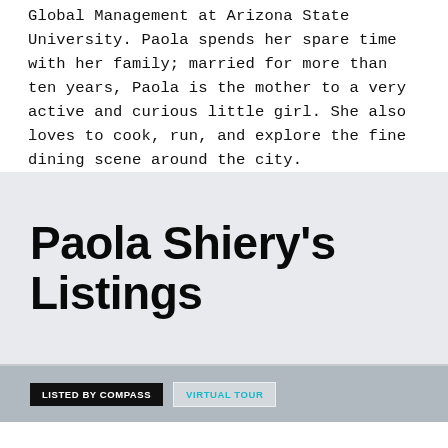Global Management at Arizona State University. Paola spends her spare time with her family; married for more than ten years, Paola is the mother to a very active and curious little girl. She also loves to cook, run, and explore the fine dining scene around the city.
Paola Shiery's Listings
[Figure (other): Property listing image bar with 'LISTED BY COMPASS' black badge and 'VIRTUAL TOUR' teal badge overlaid on a grey/silver background photo]